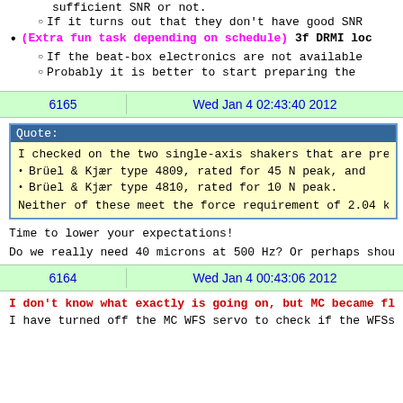sufficient SNR or not.
If it turns out that they don't have good SNR
(Extra fun task depending on schedule) 3f DRMI loc
If the beat-box electronics are not available
Probably it is better to start preparing the
6165    Wed Jan 4 02:43:40 2012
Quote:
I checked on the two single-axis shakers that are present
Brüel & Kjær type 4809, rated for 45 N peak, and
Brüel & Kjær type 4810, rated for 10 N peak.
Neither of these meet the force requirement of 2.04 kN peak
Time to lower your expectations!
Do we really need 40 microns at 500 Hz? Or perhaps shou
6164    Wed Jan 4 00:43:06 2012
I don't know what exactly is going on, but MC became fl
I have turned off the MC WFS servo to check if the WFSs